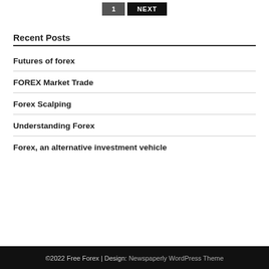Recent Posts
Futures of forex
FOREX Market Trade
Forex Scalping
Understanding Forex
Forex, an alternative investment vehicle
©2022 Free Forex | Design: Newspaperly WordPress Theme